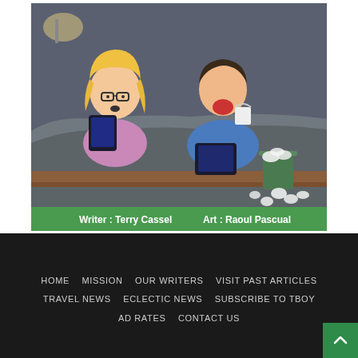[Figure (illustration): Cartoon illustration of a woman and man in bed, both sick, looking at tablet devices with a trash can full of crumpled tissues nearby. Green banner at bottom reads: Writer: Terry Cassel   Art: Raoul Pascual]
HOME  MISSION  OUR WRITERS  VISIT PAST ARTICLES  TRAVEL NEWS  ECLECTIC NEWS  SUBSCRIBE TO TBOY  AD RATES  CONTACT US